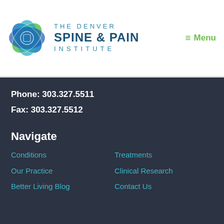[Figure (logo): The Denver Spine & Pain Institute logo with overlapping blue and green leaf shapes forming a circular emblem, accompanied by the text THE DENVER SPINE & PAIN INSTITUTE]
≡ Menu
Phone: 303.327.5511
Fax: 303.327.5512
Navigate
Conditions
Treatments
Our Practice
Clinical Research
Better Living Blog
Contact Us